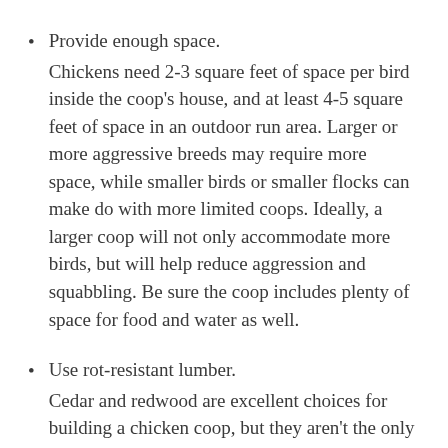Provide enough space. Chickens need 2-3 square feet of space per bird inside the coop's house, and at least 4-5 square feet of space in an outdoor run area. Larger or more aggressive breeds may require more space, while smaller birds or smaller flocks can make do with more limited coops. Ideally, a larger coop will not only accommodate more birds, but will help reduce aggression and squabbling. Be sure the coop includes plenty of space for food and water as well.
Use rot-resistant lumber. Cedar and redwood are excellent choices for building a chicken coop, but they aren't the only options. It is best to avoid pressure-treated woods, however, which may have used toxic chemicals that